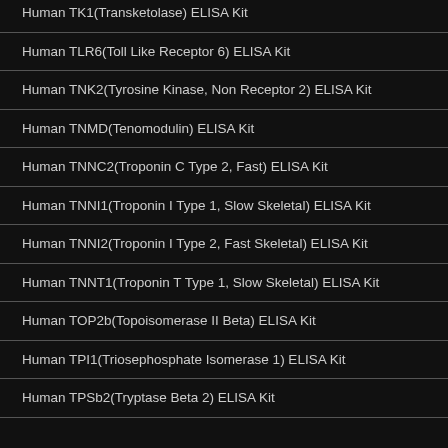Human TK1(Transketolase) ELISA Kit
Human TLR6(Toll Like Receptor 6) ELISA Kit
Human TNK2(Tyrosine Kinase, Non Receptor 2) ELISA Kit
Human TNMD(Tenomodulin) ELISA Kit
Human TNNC2(Troponin C Type 2, Fast) ELISA Kit
Human TNNI1(Troponin I Type 1, Slow Skeletal) ELISA Kit
Human TNNI2(Troponin I Type 2, Fast Skeletal) ELISA Kit
Human TNNT1(Troponin T Type 1, Slow Skeletal) ELISA Kit
Human TOP2b(Topoisomerase II Beta) ELISA Kit
Human TPI1(Triosephosphate Isomerase 1) ELISA Kit
Human TPSb2(Tryptase Beta 2) ELISA Kit